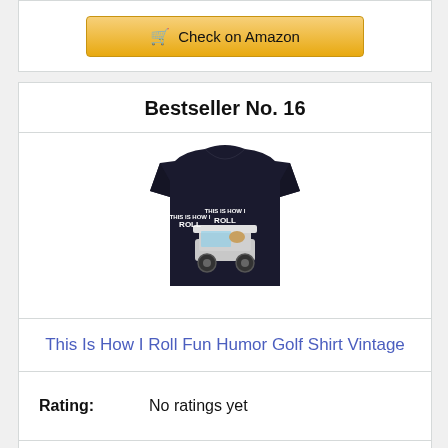[Figure (other): Check on Amazon button at top of page]
Bestseller No. 16
[Figure (photo): Black t-shirt with golf cart and text 'This Is How I Roll']
This Is How I Roll Fun Humor Golf Shirt Vintage
Rating: No ratings yet
[Figure (other): Check on Amazon button at bottom of page]